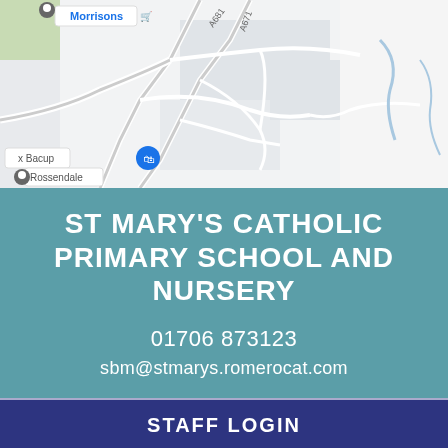[Figure (map): Google Maps screenshot showing roads A681 and A671 near Morrisons, x Bacup, and Rossendale area in Lancashire, UK.]
ST MARY'S CATHOLIC PRIMARY SCHOOL AND NURSERY
01706 873123
sbm@stmarys.romerocat.com
STAFF LOGIN